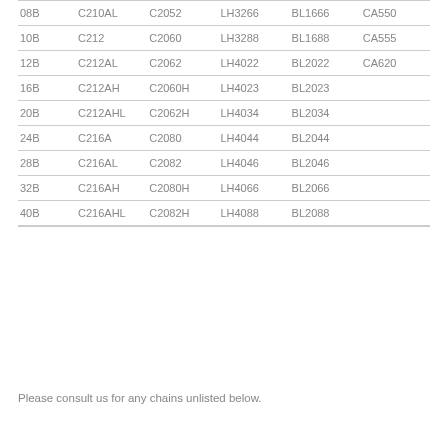| 08B | C210AL | C2052 | LH3266 | BL1666 | CA550 |
| 10B | C212 | C2060 | LH3288 | BL1688 | CA555 |
| 12B | C212AL | C2062 | LH4022 | BL2022 | CA620 |
| 16B | C212AH | C2060H | LH4023 | BL2023 |  |
| 20B | C212AHL | C2062H | LH4034 | BL2034 |  |
| 24B | C216A | C2080 | LH4044 | BL2044 |  |
| 28B | C216AL | C2082 | LH4046 | BL2046 |  |
| 32B | C216AH | C2080H | LH4066 | BL2066 |  |
| 40B | C216AHL | C2082H | LH4088 | BL2088 |  |
Please consult us for any chains unlisted below.